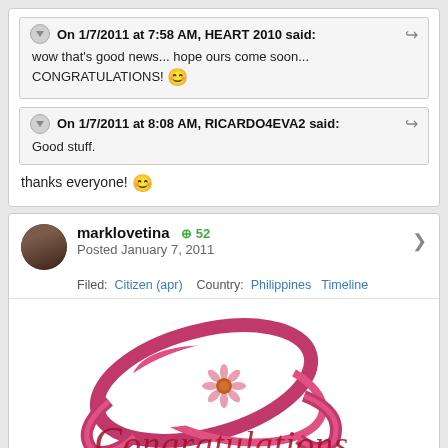On 1/7/2011 at 7:58 AM, HEART 2010 said:
wow that's good news... hope ours come soon... CONGRATULATIONS!
On 1/7/2011 at 8:08 AM, RICARDO4EVA2 said:
Good stuff.
thanks everyone!
marklovetina +52
Posted January 7, 2011
Filed: Citizen (apr)  Country: Philippines  Timeline
[Figure (illustration): A decorative 'Congratulations' cursive text graphic with a pink ribbon/heart loop design and a pink daisy flower in the center]